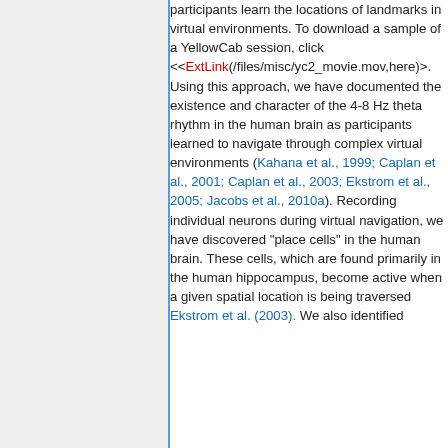participants learn the locations of landmarks in virtual environments. To download a sample of a YellowCab session, click <<ExtLink(/files/misc/yc2_movie.mov,here)>>. Using this approach, we have documented the existence and character of the 4-8 Hz theta rhythm in the human brain as participants learned to navigate through complex virtual environments (Kahana et al., 1999; Caplan et al., 2001; Caplan et al., 2003; Ekstrom et al., 2005; Jacobs et al., 2010a). Recording individual neurons during virtual navigation, we have discovered "place cells" in the human brain. These cells, which are found primarily in the human hippocampus, become active when a given spatial location is being traversed Ekstrom et al. (2003). We also identified